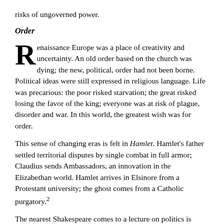risks of ungoverned power.
Order
Renaissance Europe was a place of creativity and uncertainty. An old order based on the church was dying; the new, political, order had not been borne. Political ideas were still expressed in religious language. Life was precarious: the poor risked starvation; the great risked losing the favor of the king; everyone was at risk of plague, disorder and war. In this world, the greatest wish was for order.
This sense of changing eras is felt in Hamlet. Hamlet's father settled territorial disputes by single combat in full armor; Claudius sends Ambassadors, an innovation in the Elizabethan world. Hamlet arrives in Elsinore from a Protestant university; the ghost comes from a Catholic purgatory.²
The nearest Shakespeare comes to a lecture on politics is Ulysses' speech in Troilus and Cressida to the Greek council of war, which is debating how to stop Achilles'